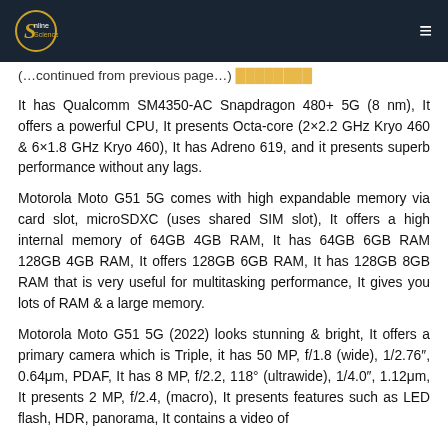Online Sciences
It has Qualcomm SM4350-AC Snapdragon 480+ 5G (8 nm), It offers a powerful CPU, It presents Octa-core (2×2.2 GHz Kryo 460 & 6×1.8 GHz Kryo 460), It has Adreno 619, and it presents superb performance without any lags.
Motorola Moto G51 5G comes with high expandable memory via card slot, microSDXC (uses shared SIM slot), It offers a high internal memory of 64GB 4GB RAM, It has 64GB 6GB RAM 128GB 4GB RAM, It offers 128GB 6GB RAM, It has 128GB 8GB RAM that is very useful for multitasking performance, It gives you lots of RAM & a large memory.
Motorola Moto G51 5G (2022) looks stunning & bright, It offers a primary camera which is Triple, it has 50 MP, f/1.8 (wide), 1/2.76″, 0.64μm, PDAF, It has 8 MP, f/2.2, 118° (ultrawide), 1/4.0″, 1.12μm, It presents 2 MP, f/2.4, (macro), It presents features such as LED flash, HDR, panorama, It contains a video of